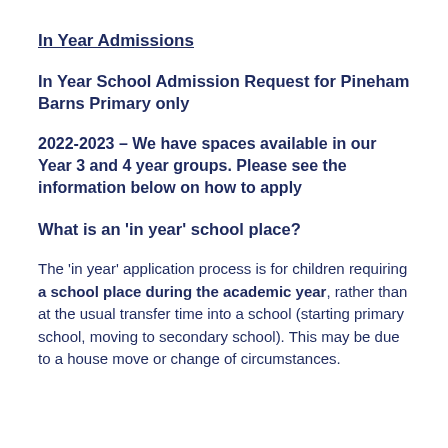In Year Admissions
In Year School Admission Request for Pineham Barns Primary only
2022-2023 – We have spaces available in our Year 3 and 4 year groups. Please see the information below on how to apply
What is an 'in year' school place?
The 'in year' application process is for children requiring a school place during the academic year, rather than at the usual transfer time into a school (starting primary school, moving to secondary school). This may be due to a house move or change of circumstances.